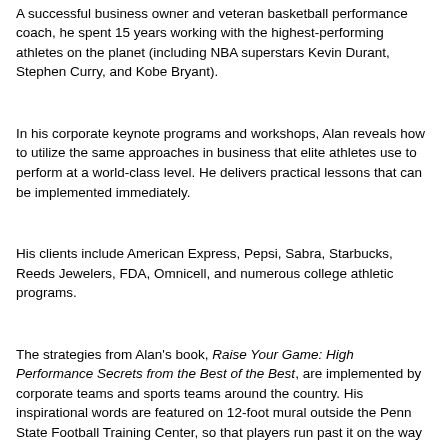collaboration, and develop winning mindsets, rituals, and routines.
A successful business owner and veteran basketball performance coach, he spent 15 years working with the highest-performing athletes on the planet (including NBA superstars Kevin Durant, Stephen Curry, and Kobe Bryant).
In his corporate keynote programs and workshops, Alan reveals how to utilize the same approaches in business that elite athletes use to perform at a world-class level. He delivers practical lessons that can be implemented immediately.
His clients include American Express, Pepsi, Sabra, Starbucks, Reeds Jewelers, FDA, Omnicell, and numerous college athletic programs.
The strategies from Alan's book, Raise Your Game: High Performance Secrets from the Best of the Best, are implemented by corporate teams and sports teams around the country. His inspirational words are featured on 12-foot mural outside the Penn State Football Training Center, so that players run past it on the way to practice every day.